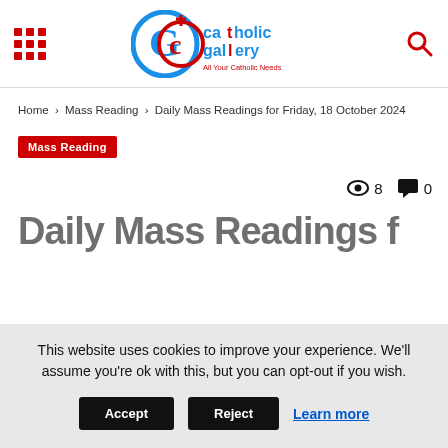Catholic Gallery — All Your Catholic Needs
Home › Mass Reading › Daily Mass Readings for Friday, 18 October 2024
Mass Reading
8 views, 0 comments
Daily Mass Readings f…
This website uses cookies to improve your experience. We'll assume you're ok with this, but you can opt-out if you wish. Accept Reject Learn more